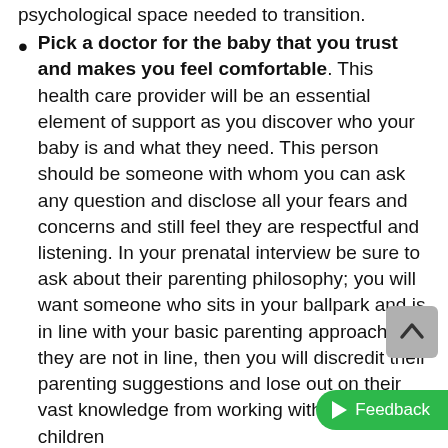Pick a doctor for the baby that you trust and makes you feel comfortable. This health care provider will be an essential element of support as you discover who your baby is and what they need. This person should be someone with whom you can ask any question and disclose all your fears and concerns and still feel they are respectful and listening. In your prenatal interview be sure to ask about their parenting philosophy; you will want someone who sits in your ballpark and is in line with your basic parenting approach. If they are not in line, then you will discredit their parenting suggestions and lose out on their vast knowledge from working with families and children